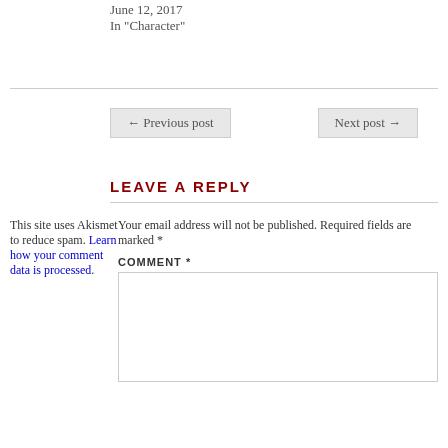June 12, 2017
In "Character"
← Previous post
Next post →
LEAVE A REPLY
This site uses Akismet to reduce spam. Learn how your comment data is processed.
Your email address will not be published. Required fields are marked *
COMMENT *